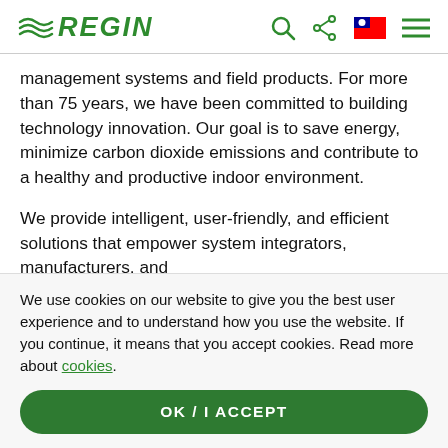REGIN
management systems and field products. For more than 75 years, we have been committed to building technology innovation. Our goal is to save energy, minimize carbon dioxide emissions and contribute to a healthy and productive indoor environment.
We provide intelligent, user-friendly, and efficient solutions that empower system integrators, manufacturers, and facility owners. Our products are primarily developed at the
We use cookies on our website to give you the best user experience and to understand how you use the website. If you continue, it means that you accept cookies. Read more about cookies.
OK / I ACCEPT